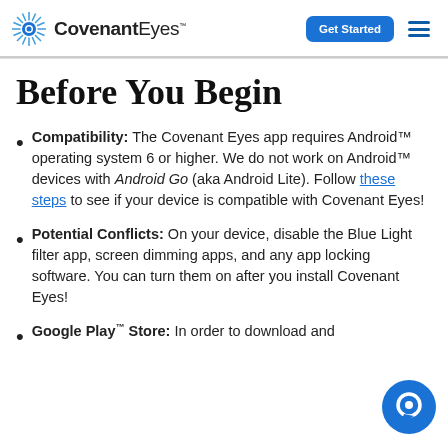Covenant Eyes — Get Started
Before You Begin
Compatibility: The Covenant Eyes app requires Android™ operating system 6 or higher. We do not work on Android™ devices with Android Go (aka Android Lite). Follow these steps to see if your device is compatible with Covenant Eyes!
Potential Conflicts: On your device, disable the Blue Light filter app, screen dimming apps, and any app locking software. You can turn them on after you install Covenant Eyes!
Google Play™ Store: In order to download and